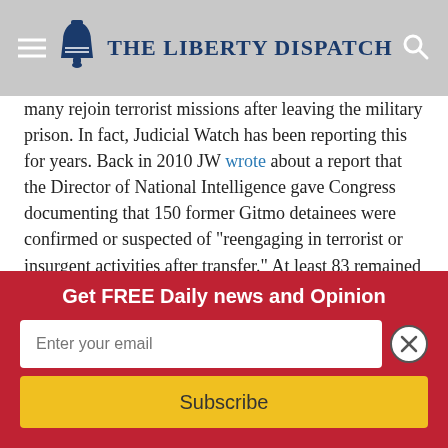The Liberty Dispatch
many rejoin terrorist missions after leaving the military prison. In fact, Judicial Watch has been reporting this for years. Back in 2010 JW wrote about a report that the Director of National Intelligence gave Congress documenting that 150 former Gitmo detainees were confirmed or suspected of “reengaging in terrorist or insurgent activities after transfer.” At least 83 remained at large, according to the document.
Now we learn that the U.S. government is secretly admitting that it erred in at least one case, the release of a Saudi national named Ibrahim al-Rubaysh. In late 2006 the Bush
Get FREE Daily news and Opinion
Enter your email
Subscribe